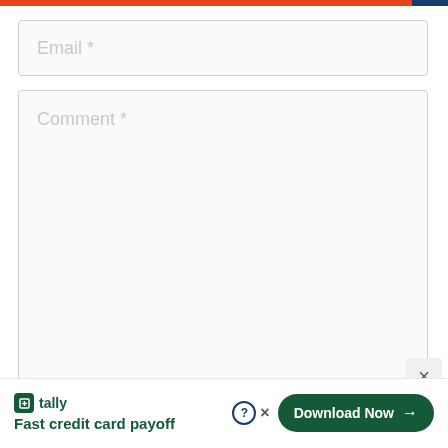[Figure (screenshot): Top navigation bar with red and dark blue gradient strip]
Email *
Comment *
[Figure (screenshot): Close button (X) in bottom right corner of comment field area]
[Figure (infographic): Tally ad banner at bottom: Tally logo icon, 'tally' brand name, 'Fast credit card payoff' tagline, help icon, close X, and 'Download Now' button with arrow]